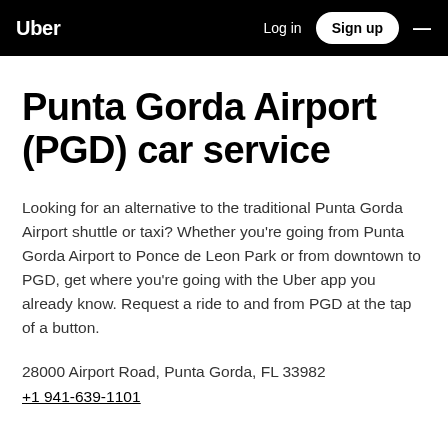Uber  Log in  Sign up  ≡
Punta Gorda Airport (PGD) car service
Looking for an alternative to the traditional Punta Gorda Airport shuttle or taxi? Whether you're going from Punta Gorda Airport to Ponce de Leon Park or from downtown to PGD, get where you're going with the Uber app you already know. Request a ride to and from PGD at the tap of a button.
28000 Airport Road, Punta Gorda, FL 33982
+1 941-639-1101